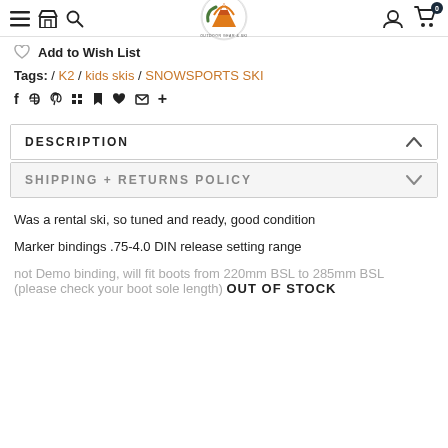[Figure (logo): The Extra Mile Outdoor Gear & Ski circular logo with mountain and sun graphic]
Add to Wish List
Tags: / K2 / kids skis / SNOWSPORTS SKI
DESCRIPTION
SHIPPING + RETURNS POLICY
Was a rental ski, so tuned and ready, good condition
Marker bindings .75-4.0 DIN release setting range
not Demo binding, will fit boots from 220mm BSL to 285mm BSL (please check your boot sole length)
OUT OF STOCK